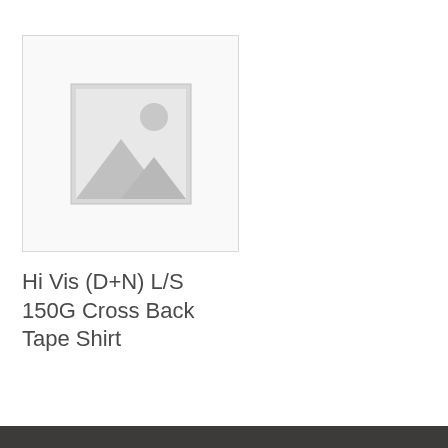[Figure (other): Placeholder product image with grey mountains and sun icon inside a light grey bordered square box]
Hi Vis (D+N) L/S 150G Cross Back Tape Shirt